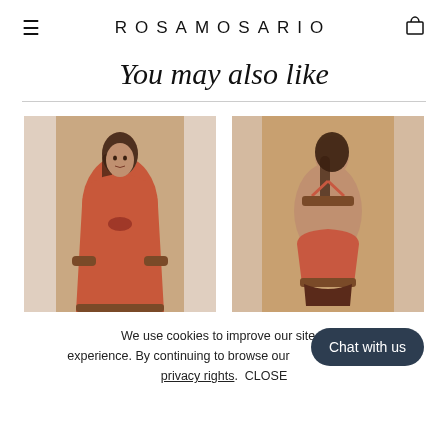≡  ROSAMOSARIO  🛍
You may also like
[Figure (photo): Female model wearing a coral/red satin robe with fur-trimmed cuffs and hem, posing facing forward]
[Figure (photo): Female model wearing coral/red lingerie set with fur-trimmed shorts, posing from behind looking over shoulder]
We use cookies to improve our site and user experience. By continuing to browse our site, you agree to our privacy rights.  CLOSE